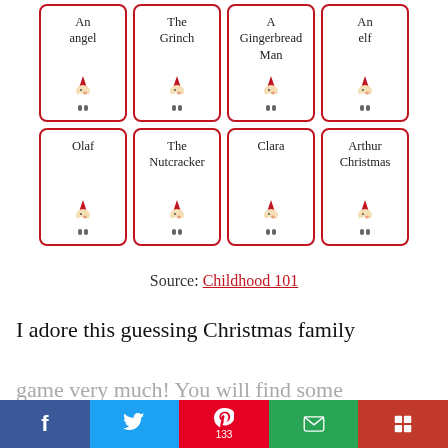[Figure (illustration): Two rows of four Christmas-themed card game cards. Top row: An angel, The Grinch, A Gingerbread Man, An elf. Bottom row: Olaf, The Nutcracker, Clara, Arthur Christmas. Each card has a red border, text label at top, and a small gnome/elf illustration at bottom.]
Source: Childhood 101
I adore this guessing Christmas family
game very much! You will find some
f  Twitter  Pinterest 133  Email  Flipboard